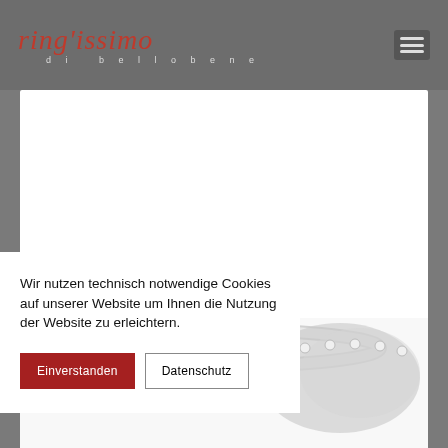[Figure (logo): Ring'issimo di bellobene logo in red italic text with subtitle]
[Figure (illustration): Hamburger menu icon (three horizontal lines) in grey box]
[Figure (photo): Close-up photo of a diamond-encrusted ring on white background]
Wir nutzen technisch notwendige Cookies auf unserer Website um Ihnen die Nutzung der Website zu erleichtern.
Einverstanden
Datenschutz